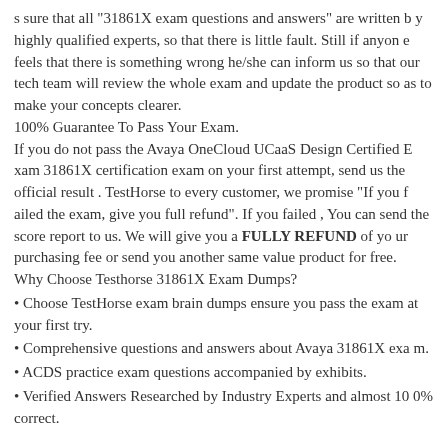s sure that all "31861X exam questions and answers" are written by highly qualified experts, so that there is little fault. Still if anyone feels that there is something wrong he/she can inform us so that our tech team will review the whole exam and update the product so as to make your concepts clearer.
100% Guarantee To Pass Your Exam.
If you do not pass the Avaya OneCloud UCaaS Design Certified Exam 31861X certification exam on your first attempt, send us the official result . TestHorse to every customer, we promise "If you failed the exam, give you full refund". If you failed , You can send the score report to us. We will give you a FULLY REFUND of your purchasing fee or send you another same value product for free.
Why Choose Testhorse 31861X Exam Dumps?
• Choose TestHorse exam brain dumps ensure you pass the exam at your first try.
• Comprehensive questions and answers about Avaya 31861X exam.
• ACDS practice exam questions accompanied by exhibits.
• Verified Answers Researched by Industry Experts and almost 100% correct.